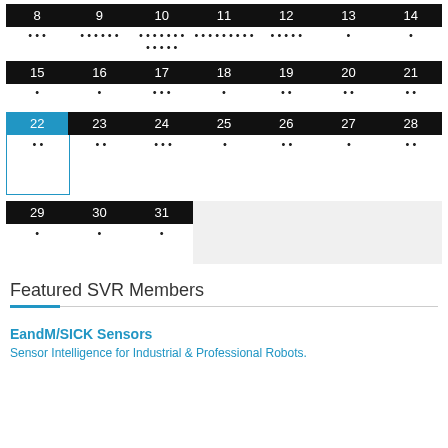[Figure (other): Calendar rows showing days 8-14, 15-21, 22-28 (with 22 highlighted in blue), and 29-31, each with dot indicators below the date numbers]
Featured SVR Members
EandM/SICK Sensors
Sensor Intelligence for Industrial & Professional Robots.